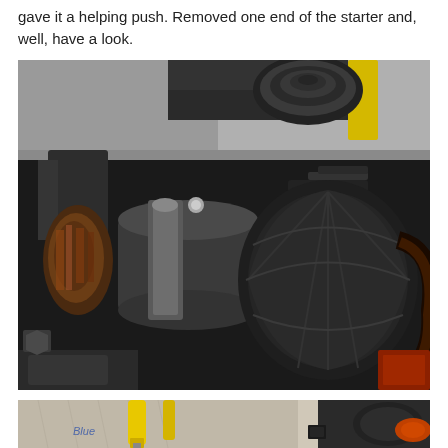gave it a helping push. Removed one end of the starter and, well, have a look.
[Figure (photo): Close-up photograph of a disassembled electric starter motor showing burnt armature windings, brushes, commutator, and internal components with visible heat damage and melted insulation.]
[Figure (photo): Partial photograph showing disassembled starter motor parts laid out on a workbench, with a yellow screwdriver visible and other tools/parts in the background.]